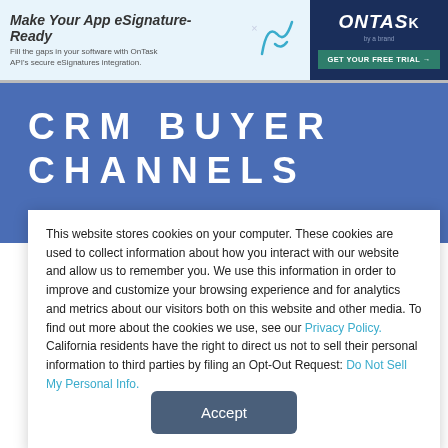[Figure (other): Advertisement banner for OnTask eSignature API. Left side on light blue background: 'Make Your App eSignature-Ready' heading with text 'Fill the gaps in your software with OnTask API's secure eSignatures integration.' Center: stylized signature graphic. Right: dark navy OnTask logo with 'GET YOUR FREE TRIAL →' green button.]
CRM BUYER CHANNELS
CALL CENTERS
This website stores cookies on your computer. These cookies are used to collect information about how you interact with our website and allow us to remember you. We use this information in order to improve and customize your browsing experience and for analytics and metrics about our visitors both on this website and other media. To find out more about the cookies we use, see our Privacy Policy. California residents have the right to direct us not to sell their personal information to third parties by filing an Opt-Out Request: Do Not Sell My Personal Info.
Accept